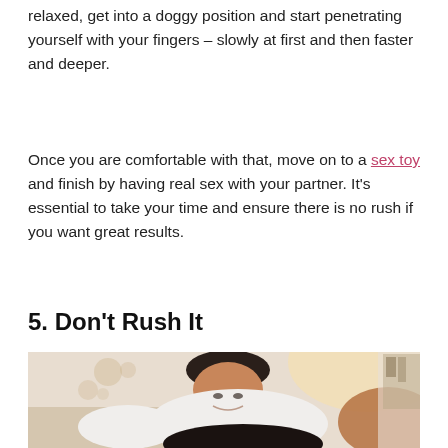relaxed, get into a doggy position and start penetrating yourself with your fingers – slowly at first and then faster and deeper.
Once you are comfortable with that, move on to a sex toy and finish by having real sex with your partner. It's essential to take your time and ensure there is no rush if you want great results.
5. Don't Rush It
[Figure (photo): A couple in an intimate bedroom setting, man in white t-shirt leaning over woman]